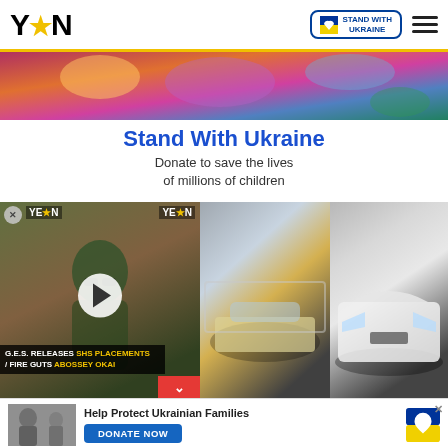YEN (logo) | STAND WITH UKRAINE badge | Hamburger menu
[Figure (photo): Ukraine humanitarian crisis photo banner with children]
Stand With Ukraine
Donate to save the lives of millions of children
[Figure (screenshot): Video player showing a man, with caption: G.E.S. RELEASES SHS PLACEMENTS / FIRE GUTS ABOSSEY OKAI. YEN logo watermarks top-left and top-right. Play button in center.]
[Figure (photo): Middle news photo showing a car on a street]
[Figure (photo): Right news photo showing a white Lamborghini sports car]
Help Protect Ukrainian Families
DONATE NOW